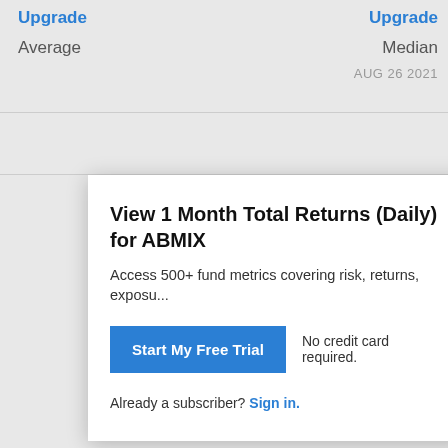Upgrade
Average
Upgrade
Median
AUG 26 2021
View 1 Month Total Returns (Daily) for ABMIX
Access 500+ fund metrics covering risk, returns, exposu...
Start My Free Trial
No credit card required.
Already a subscriber? Sign in.
Reinhart Mid Cap PMV Institutional
1 Month Total Returns (Daily) Related Metrics
3 Month Total Returns (Daily)